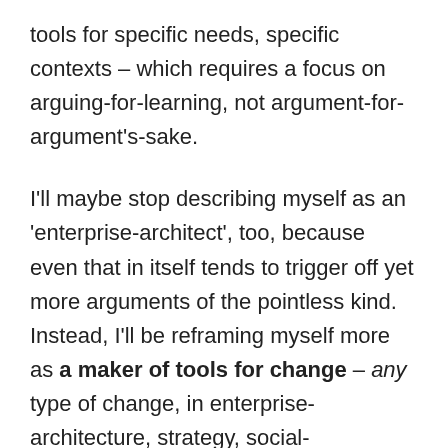tools for specific needs, specific contexts – which requires a focus on arguing-for-learning, not argument-for-argument's-sake.
I'll maybe stop describing myself as an 'enterprise-architect', too, because even that in itself tends to trigger off yet more arguments of the pointless kind. Instead, I'll be reframing myself more as a maker of tools for change – any type of change, in enterprise-architecture, strategy, social-community, business, government, whatever. More detail on that over the coming few posts, anyway.
Enough for now: yet let's make the end of arguments a 'New Year resolution' that's worth